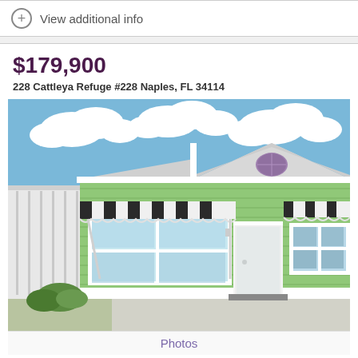View additional info
$179,900
228 Cattleya Refuge #228 Naples, FL 34114
[Figure (photo): Exterior photo of a light green single-story house with black and white striped awnings over windows, a screened porch area on the left, a front door in the center, and a concrete driveway. Blue sky with white clouds visible above.]
Photos
Beds: 2
Baths: 2.00